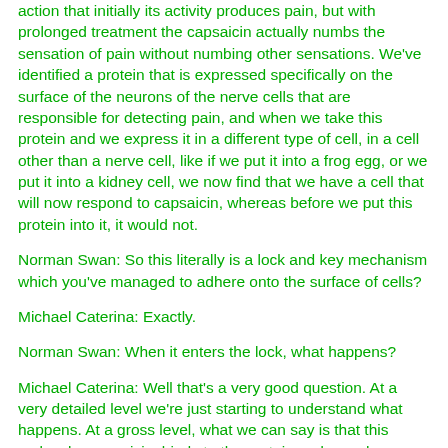action that initially its activity produces pain, but with prolonged treatment the capsaicin actually numbs the sensation of pain without numbing other sensations. We've identified a protein that is expressed specifically on the surface of the neurons of the nerve cells that are responsible for detecting pain, and when we take this protein and we express it in a different type of cell, in a cell other than a nerve cell, like if we put it into a frog egg, or we put it into a kidney cell, we now find that we have a cell that will now respond to capsaicin, whereas before we put this protein into it, it would not.
Norman Swan: So this literally is a lock and key mechanism which you've managed to adhere onto the surface of cells?
Michael Caterina: Exactly.
Norman Swan: When it enters the lock, what happens?
Michael Caterina: Well that's a very good question. At a very detailed level we're just starting to understand what happens. At a gross level, what we can say is that this molecule, capsaicin, binds to the protein and somehow causes the shape of the protein to change, so that ions, like calcium and sodium ions, from outside of the cell, flows through the protein into the interior of the cell. So that this protein essentially is like a little hole in the surface of the cell, and when the capsaicin binds to it, this hole opens up.